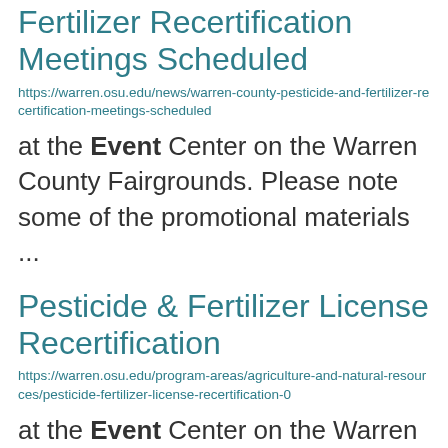Fertilizer Recertification Meetings Scheduled
https://warren.osu.edu/news/warren-county-pesticide-and-fertilizer-recertification-meetings-scheduled
at the Event Center on the Warren County Fairgrounds. Please note some of the promotional materials ...
Pesticide & Fertilizer License Recertification
https://warren.osu.edu/program-areas/agriculture-and-natural-resources/pesticide-fertilizer-license-recertification-0
at the Event Center on the Warren County Fairgrounds. Please note some of the